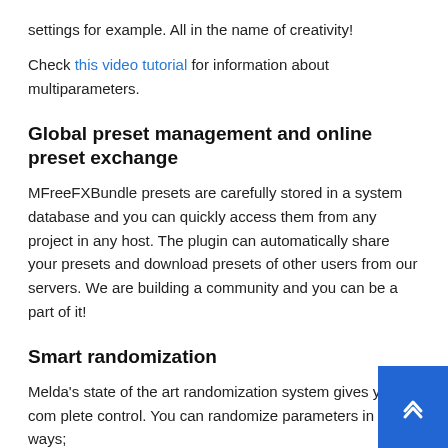settings for example. All in the name of creativity!
Check this video tutorial for information about multiparameters.
Global preset management and online preset exchange
MFreeFXBundle presets are carefully stored in a system database and you can quickly access them from any project in any host. The plugin can automatically share your presets and download presets of other users from our servers. We are building a community and you can be a part of it!
Smart randomization
Melda's state of the art randomization system gives you complete control. You can randomize parameters in 3 ways;
1. Complete full randomization of everything.
2. (partially visible)